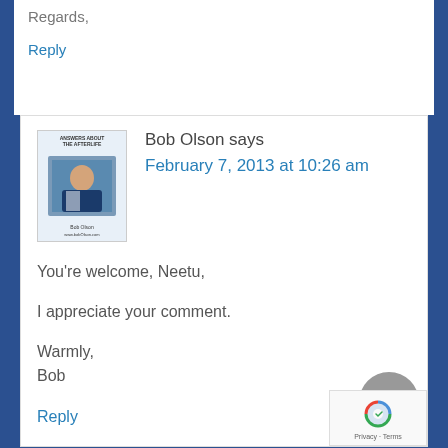Regards,
Reply
Bob Olson says
February 7, 2013 at 10:26 am
[Figure (photo): Book cover avatar for Bob Olson - Answers About The Afterlife]
You're welcome, Neetu,
I appreciate your comment.
Warmly,
Bob
Reply